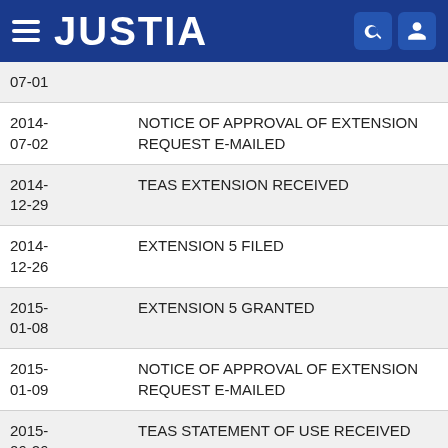JUSTIA
| Date | Event |
| --- | --- |
| 07-01 |  |
| 2014-07-02 | NOTICE OF APPROVAL OF EXTENSION REQUEST E-MAILED |
| 2014-12-29 | TEAS EXTENSION RECEIVED |
| 2014-12-26 | EXTENSION 5 FILED |
| 2015-01-08 | EXTENSION 5 GRANTED |
| 2015-01-09 | NOTICE OF APPROVAL OF EXTENSION REQUEST E-MAILED |
| 2015-06-26 | TEAS STATEMENT OF USE RECEIVED |
| 2015-06-26 | USE AMENDMENT FILED |